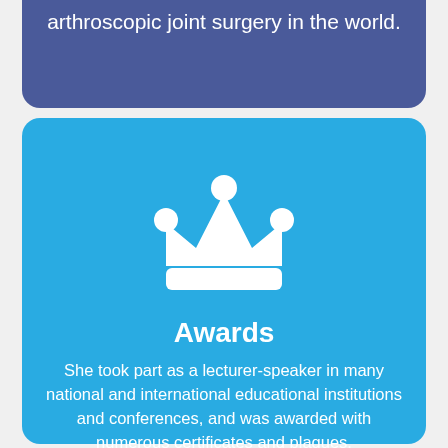arthroscopic joint surgery in the world.
[Figure (illustration): White crown icon on blue background]
Awards
She took part as a lecturer-speaker in many national and international educational institutions and conferences, and was awarded with numerous certificates and plaques.